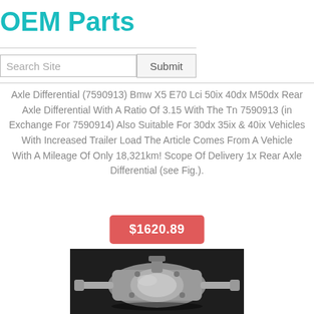OEM Parts
Axle Differential (7590913) Bmw X5 E70 Lci 50ix 40dx M50dx Rear Axle Differential With A Ratio Of 3.15 With The Tn 7590913 (in Exchange For 7590914) Also Suitable For 30dx 35ix & 40ix Vehicles With Increased Trailer Load The Article Comes From A Vehicle With A Mileage Of Only 18,321km! Scope Of Delivery 1x Rear Axle Differential (see Fig.).
$1620.89
[Figure (photo): Photo of a BMW X5 rear axle differential unit, silver/metallic colored, on dark background]